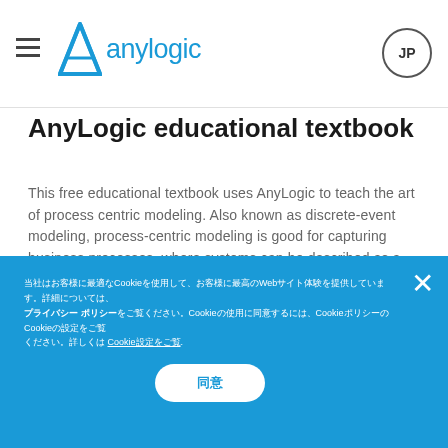AnyLogic — hamburger menu and JP button
AnyLogic educational textbook
This free educational textbook uses AnyLogic to teach the art of process centric modeling. Also known as discrete-event modeling, process-centric modeling is good for capturing business processes, where systems can be described as a sequence of actions. Capturing a system in a process-centric model is not always straightforward but, using clear examples and the simulation modeling tool AnyLogic, this book teaches you how.
[Figure (other): Pagination dots — 8 dots, first one active (blue), rest grey]
当社はCookieを使用して、お客様に最高のWebサイト体験を提供しています。詳細については、プライバシーポリシーをご覧ください。Cookieの使用に同意するには、CookieポリシーのCookieの設定をご覧 Cookie設定をご覧.